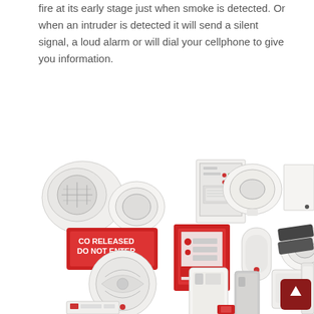fire at its early stage just when smoke is detected. Or when an intruder is detected it will send a silent signal, a loud alarm or will dial your cellphone to give you information.
[Figure (photo): Collection of fire alarm and security system devices including smoke detectors, control panels, motion sensors, CO warning signs, sirens, and PIR detectors arranged on a white background.]